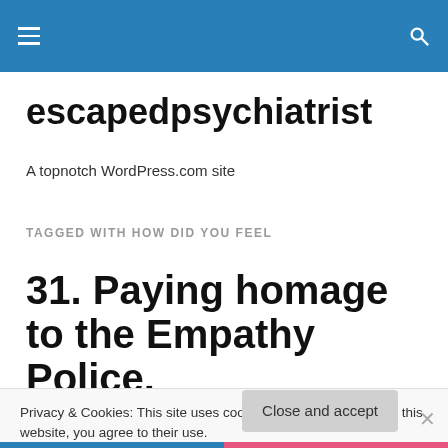escapedpsychiatrist — navigation bar
escapedpsychiatrist
A topnotch WordPress.com site
TAGGED WITH HOW DID YOU FEEL
31. Paying homage to the Empathy Police.
Privacy & Cookies: This site uses cookies. By continuing to use this website, you agree to their use.
To find out more, including how to control cookies, see here: Cookie Policy